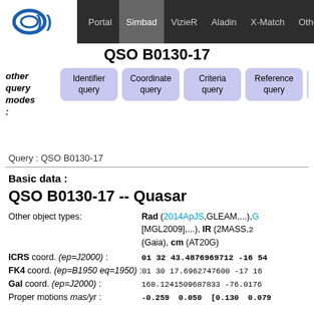Portal | Simbad | VizieR | Aladin | X-Match | Other
QSO B0130-17
other query modes: Identifier query | Coordinate query | Criteria query | Reference query | Basic query
Query : QSO B0130-17
Basic data :
QSO B0130-17 -- Quasar
Other object types: Rad (2014ApJS, GLEAM, ...), Q [MGL2009],...), IR (2MASS, ..., (Gaia), cm (AT20G)
ICRS coord. (ep=J2000) : 01 32 43.4876969712 -16 54
FK4 coord. (ep=B1950 eq=1950) : 01 30 17.6962747600 -17 16
Gal coord. (ep=J2000) : 168.1241509687833 -76.0176
Proper motions mas/yr : -0.259 0.050 [0.130 0.079